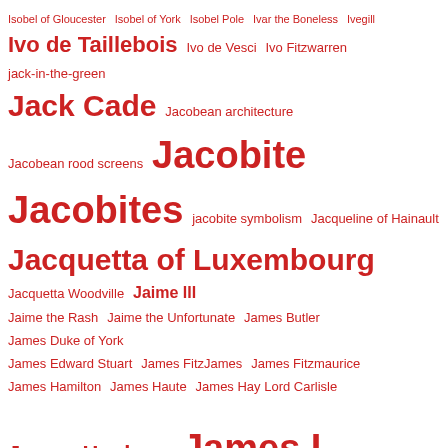Isobel of Gloucester Isobel of York Isobel Pole Ivar the Boneless Ivegill Ivo de Taillebois Ivo de Vesci Ivo Fitzwarren jack-in-the-green Jack Cade Jacobean architecture Jacobean rood screens Jacobite Jacobites jacobite symbolism Jacqueline of Hainault Jacquetta of Luxembourg Jacquetta Woodville Jaime III Jaime the Rash Jaime the Unfortunate James Butler James Duke of York James Edward Stuart James FitzJames James Fitzmaurice James Hamilton James Haute James Hay Lord Carlisle James Hepburn James I James II James III James III of England James III of Scotland James I of England James I of Scotland James IV James IV of Scotland James Morton James Pilkington James Scott James Stewart James St George James Strangeways Jamestown James VI James VI of Scotland James V of Scotland Jane Austen Jane Boleyn Jane Kennedy Jane Lambert Jane Mosley Jane Parker Jane Pollard Jane Popincourt Jane Seymour Jane Shore